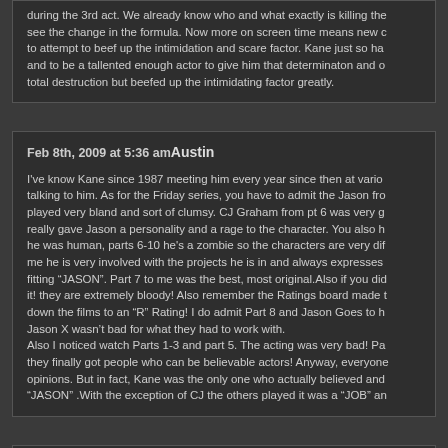during the 3rd act. We already know who and what exactly is killing the see the change in the formula. Now more on screen time means new c to attempt to beef up the intimidation and scare factor. Kane just so ha and to be a tallented enough actor to give him that determinaton and o total destruction but beefed up the intimidating factor greatly.
Feb 8th, 2009 at 5:36 am Austin
I've know Kane since 1987 meeting him every year since then at vario talking to him. As for the Friday series, you have to admit the Jason fro played very bland and sort of clumsy. CJ Graham from pt 6 was very g really gave Jason a personality and a rage to the character. You also h he was human, parts 6-10 he's a zombie so the characters are very dif me he is very involved with the projects he is in and always expresses fitting "JASON". Part 7 to me was the best, most original.Also if you did it! they are extremely bloody! Also remember the Ratings board made t down the films to an "R" Rating! I do admit Part 8 and Jason Goes to h Jason X wasn't bad for what they had to work with. Also I noticed watch Parts 1-3 and part 5. The acting was very bad! Pa they finally got people who can be believable actors! Anyway, everyone opinions. But in fact, Kane was the only one who actually believed and "JASON" .With the exception of CJ the others played it was a "JOB" an
Feb 16th, 2009 at 2:42 am Nero
Are you guys kidding me I love all the friday the 13th . You are not real bad things. Kane hodder played Jason to the t and he didn`t write fride